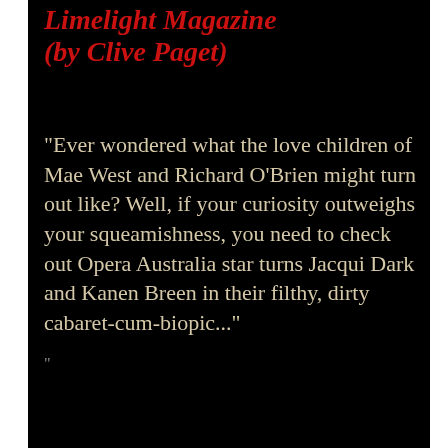Limelight Magazine (by Clive Paget)
"Ever wondered what the love children of Mae West and Richard O'Brien might turn out like? Well, if your curiosity outweighs your squeamishness, you need to check out Opera Australia star turns Jacqui Dark and Kanen Breen in their filthy, dirty cabaret-cum-biopic..."
"